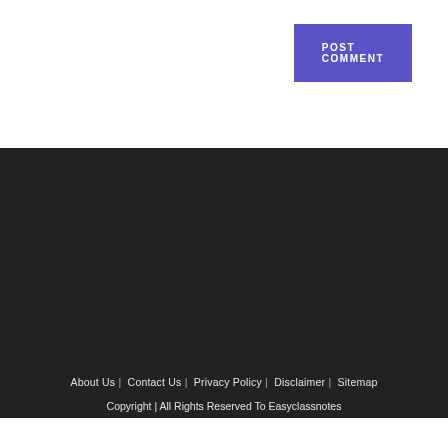POST COMMENT
About Us | Contact Us | Privacy Policy | Disclaimer | Sitemap
Copyright | All Rights Reserved To Easyclassnotes